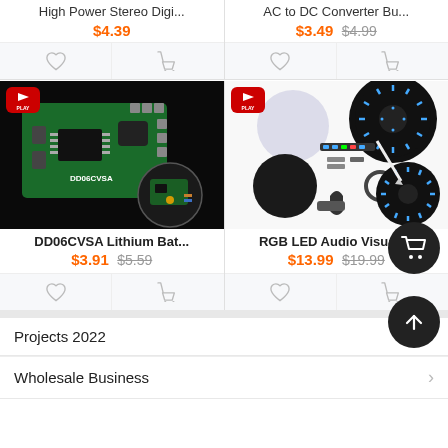[Figure (screenshot): Top partial product cards showing prices: left card $4.39, right card $3.49 (was $4.99)]
[Figure (photo): DD06CVSA Lithium Battery protection PCB board on black background with inset close-up]
DD06CVSA Lithium Bat...
$3.91 $5.59
[Figure (photo): RGB LED Audio Visualizer kit components on white background with circular LED display panels]
RGB LED Audio Visuali...
$13.99 $19.99
Projects 2022
Wholesale Business